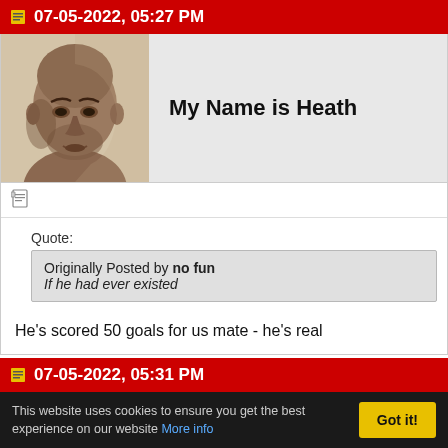07-05-2022, 05:27 PM
[Figure (photo): Avatar photo of a bald mixed-race man looking sideways]
My Name is Heath
Quote:
Originally Posted by no fun
If he had ever existed
He's scored 50 goals for us mate - he's real
07-05-2022, 05:31 PM
This website uses cookies to ensure you get the best experience on our website More info